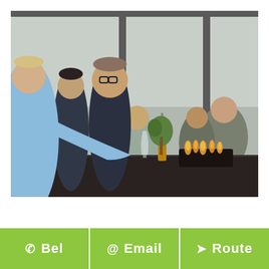[Figure (photo): A group of people sitting around a dark outdoor table with a fire pit element. In the foreground, a blonde woman in a light blue denim jacket leans forward. Next to her is a younger person. A man with glasses and a dark shirt sits beside them. In the background, more people are seated, with wine glasses and a beer bottle on the table. The setting appears to be an outdoor restaurant terrace or lounge area.]
Bel
Email
Route